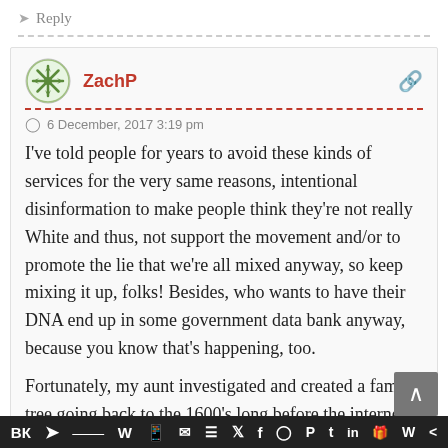Reply
ZachP
6 December, 2017 3:19 pm
I've told people for years to avoid these kinds of services for the very same reasons, intentional disinformation to make people think they're not really White and thus, not support the movement and/or to promote the lie that we're all mixed anyway, so keep mixing it up, folks! Besides, who wants to have their DNA end up in some government data bank anyway, because you know that's happening, too.
Fortunately, my aunt investigated and created a family tree going back to the 1600's long before the internet with real documents. That's concrete and I live right in it.
Social share bar: VK, Telegram, Reddit, WordPress, WhatsApp, Email, Buffer, Twitter, Facebook, Instagram, Pinterest, Tumblr, LinkedIn, Gift, Wattpad, Share